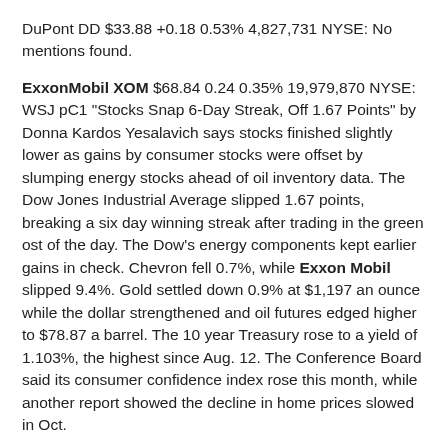DuPont DD $33.88 +0.18 0.53% 4,827,731 NYSE: No mentions found.
ExxonMobil XOM $68.84 0.24 0.35% 19,979,870 NYSE: WSJ pC1 "Stocks Snap 6-Day Streak, Off 1.67 Points" by Donna Kardos Yesalavich says stocks finished slightly lower as gains by consumer stocks were offset by slumping energy stocks ahead of oil inventory data. The Dow Jones Industrial Average slipped 1.67 points, breaking a six day winning streak after trading in the green ost of the day. The Dow's energy components kept earlier gains in check. Chevron fell 0.7%, while Exxon Mobil slipped 9.4%. Gold settled down 0.9% at $1,197 an ounce while the dollar strengthened and oil futures edged higher to $78.87 a barrel. The 10 year Treasury rose to a yield of 1.103%, the highest since Aug. 12. The Conference Board said its consumer confidence index rose this month, while another report showed the decline in home prices slowed in Oct.
WSJ pB2 "Energy Firms Think Long Term" by Ben Casselman, Rebecca Smith says that in a sign that low natural gas prices are here to stay, big US energy firms are